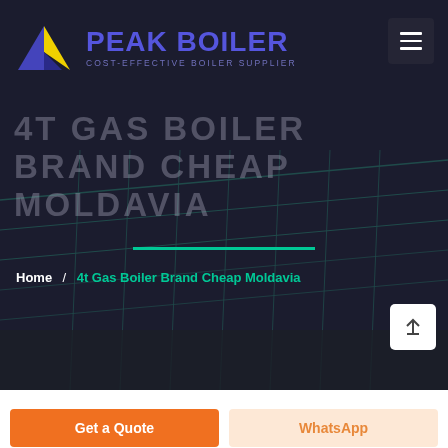[Figure (logo): Peak Boiler logo with blue/purple house icon and yellow accent, text PEAK BOILER in blue-purple, subtitle COST-EFFECTIVE BOILER SUPPLIER]
[Figure (screenshot): Hero section with dark overlay on industrial building background, large watermark text '4T GAS BOILER BRAND CHEAP MOLDAVIA', green divider line, breadcrumb navigation]
4T GAS BOILER BRAND CHEAP MOLDAVIA
Home / 4t Gas Boiler Brand Cheap Moldavia
Get a Quote
WhatsApp